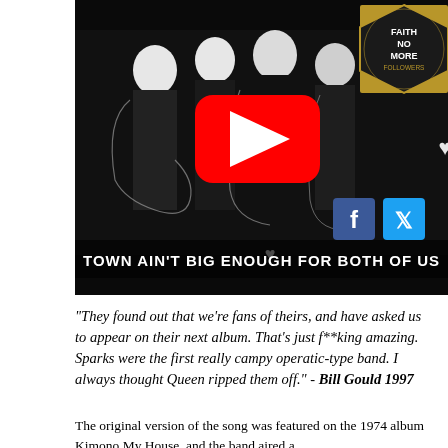[Figure (screenshot): YouTube video thumbnail showing Faith No More band members in black and white silhouette style artwork, with a red YouTube play button in the center. Bottom text overlay reads 'TOWN AIN'T BIG ENOUGH FOR BOTH OF US'. Top right has a Faith No More Followers badge and social media icons (Facebook, Twitter).]
"They found out that we're fans of theirs, and have asked us to appear on their next album. That's just f**king amazing. Sparks were the first really campy operatic-type band. I always thought Queen ripped them off." - Bill Gould 1997
The original version of the song was featured on the 1974 album Kimono My House, and the band aired a